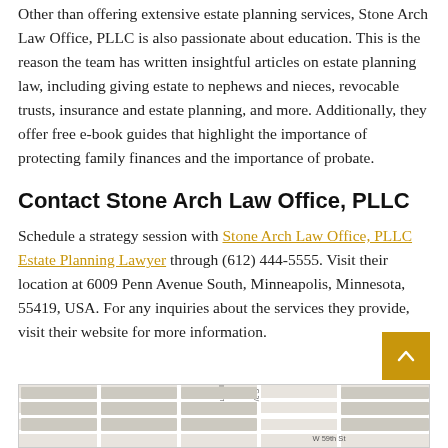Other than offering extensive estate planning services, Stone Arch Law Office, PLLC is also passionate about education. This is the reason the team has written insightful articles on estate planning law, including giving estate to nephews and nieces, revocable trusts, insurance and estate planning, and more. Additionally, they offer free e-book guides that highlight the importance of protecting family finances and the importance of probate.
Contact Stone Arch Law Office, PLLC
Schedule a strategy session with Stone Arch Law Office, PLLC Estate Planning Lawyer through (612) 444-5555. Visit their location at 6009 Penn Avenue South, Minneapolis, Minnesota, 55419, USA. For any inquiries about the services they provide, visit their website for more information.
[Figure (map): Street map showing location near W 59th St and Russell Ave S, Minneapolis]